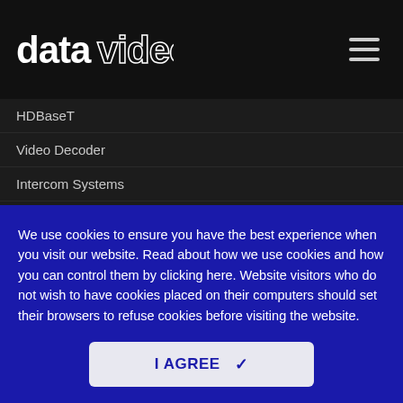datavideo
HDBaseT
Video Decoder
Intercom Systems
Teleprompters
Virtual Studio
TV Wall Processor
Chromakeyers
We use cookies to ensure you have the best experience when you visit our website. Read about how we use cookies and how you can control them by clicking here. Website visitors who do not wish to have cookies placed on their computers should set their browsers to refuse cookies before visiting the website.
I AGREE ✓